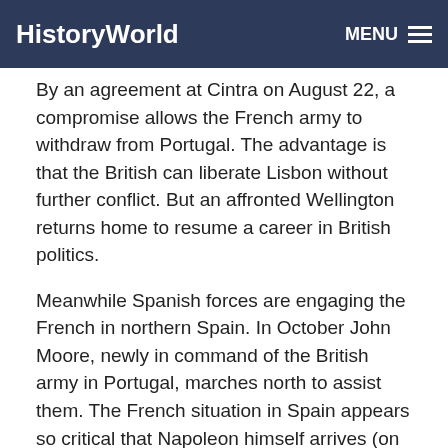HistoryWorld | MENU
By an agreement at Cintra on August 22, a compromise allows the French army to withdraw from Portugal. The advantage is that the British can liberate Lisbon without further conflict. But an affronted Wellington returns home to resume a career in British politics.
Meanwhile Spanish forces are engaging the French in northern Spain. In October John Moore, newly in command of the British army in Portugal, marches north to assist them. The French situation in Spain appears so critical that Napoleon himself arrives (on November 6) to take charge of the campaign.
By late December Moore's army, near Burgos, is in danger of being surrounded. Moore beats a hasty retreat of some 250 miles through snowclad mountains to Corunna (or La CoruÑa). A French army arrives there shortly before the